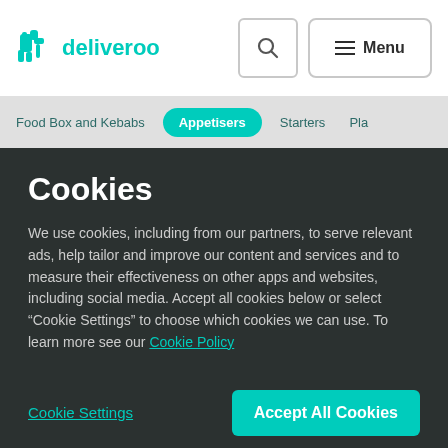[Figure (screenshot): Deliveroo website header with logo, search button, and Menu button on white background]
Food Box and Kebabs   Appetisers   Starters   Pla...
Cookies
We use cookies, including from our partners, to serve relevant ads, help tailor and improve our content and services and to measure their effectiveness on other apps and websites, including social media. Accept all cookies below or select “Cookie Settings” to choose which cookies we can use. To learn more see our Cookie Policy
Cookie Settings
Accept All Cookies